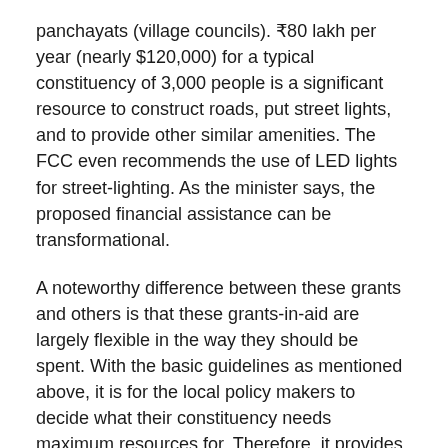panchayats (village councils). ₹80 lakh per year (nearly $120,000) for a typical constituency of 3,000 people is a significant resource to construct roads, put street lights, and to provide other similar amenities. The FCC even recommends the use of LED lights for street-lighting. As the minister says, the proposed financial assistance can be transformational.
A noteworthy difference between these grants and others is that these grants-in-aid are largely flexible in the way they should be spent. With the basic guidelines as mentioned above, it is for the local policy makers to decide what their constituency needs maximum resources for. Therefore, it provides for careful analysis together with creativity at the local level.
Further, the FCC recommends one-tenth of the grants to be performance-based. To be eligible for these grants, the LGs